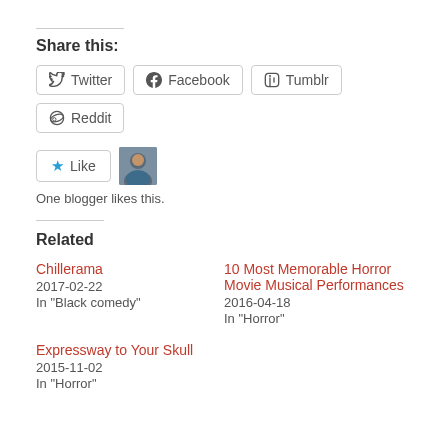Share this:
Twitter | Facebook | Tumblr | Reddit
Like | One blogger likes this.
Related
Chillerama
2017-02-22
In "Black comedy"
10 Most Memorable Horror Movie Musical Performances
2016-04-18
In "Horror"
Expressway to Your Skull
2015-11-02
In "Horror"